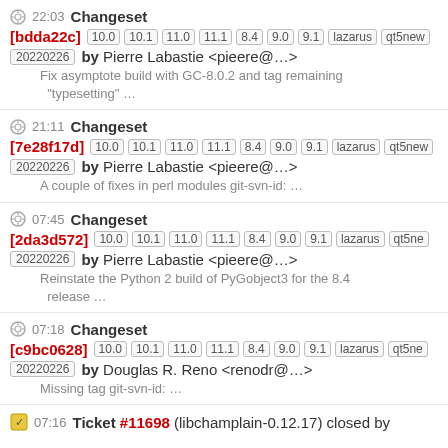22:03 Changeset [bdda22c] 10.0 10.1 11.0 11.1 8.4 9.0 9.1 lazarus qt5new 20220226 by Pierre Labastie <pieere@...> Fix asymptote build with GC-8.0.2 and tag remaining "typesetting" ...
21:11 Changeset [7e28f17d] 10.0 10.1 11.0 11.1 8.4 9.0 9.1 lazarus qt5new 20220226 by Pierre Labastie <pieere@...> A couple of fixes in perl modules git-svn-id: ...
07:45 Changeset [2da3d572] 10.0 10.1 11.0 11.1 8.4 9.0 9.1 lazarus qt5ne 20220226 by Pierre Labastie <pieere@...> Reinstate the Python 2 build of PyGobject3 for the 8.4 release ...
07:18 Changeset [c9bc0628] 10.0 10.1 11.0 11.1 8.4 9.0 9.1 lazarus qt5ne 20220226 by Douglas R. Reno <renodr@...> Missing tag git-svn-id: ...
07:16 Ticket #11698 (libchamplain-0.12.17) closed by